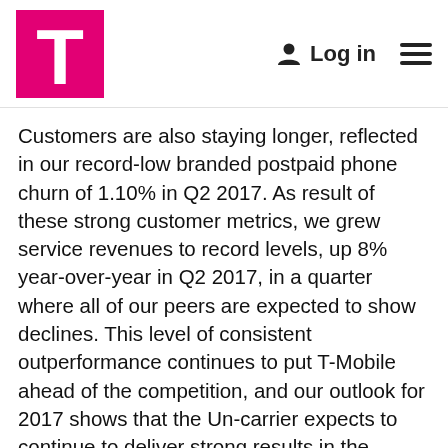T-Mobile | Log in
Customers are also staying longer, reflected in our record-low branded postpaid phone churn of 1.10% in Q2 2017. As result of these strong customer metrics, we grew service revenues to record levels, up 8% year-over-year in Q2 2017, in a quarter where all of our peers are expected to show declines. This level of consistent outperformance continues to put T-Mobile ahead of the competition, and our outlook for 2017 shows that the Un-carrier expects to continue to deliver strong results in the remainder of 2017.
"We just delivered a quarter with record service revenue, record-low churn, strong net income and record Adjusted EBITDA – all while leading the industry in